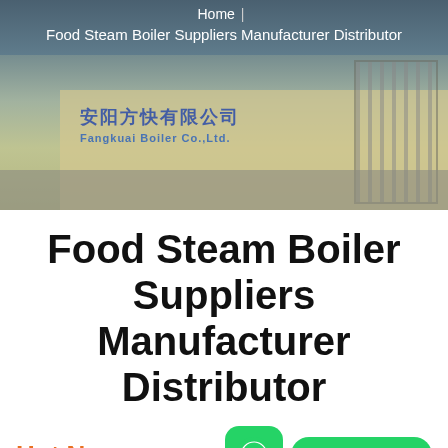[Figure (photo): Aerial/street view photo of a Chinese boiler manufacturing factory (Fangkuai Boiler Co., Ltd.) showing factory wall with Chinese characters and English text, a road, and fence in foreground.]
Home | Food Steam Boiler Suppliers Manufacturer Distributor
Food Steam Boiler Suppliers Manufacturer Distributor
Hot News
Contact us now!
CFBC Boiler Manufacturer
How Does A Commercial Boiler Work Commercial